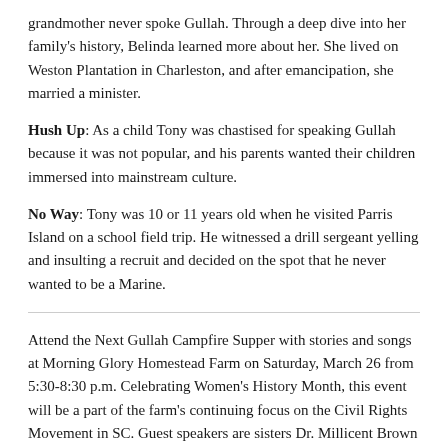grandmother never spoke Gullah. Through a deep dive into her family's history, Belinda learned more about her. She lived on Weston Plantation in Charleston, and after emancipation, she married a minister.
Hush Up: As a child Tony was chastised for speaking Gullah because it was not popular, and his parents wanted their children immersed into mainstream culture.
No Way: Tony was 10 or 11 years old when he visited Parris Island on a school field trip. He witnessed a drill sergeant yelling and insulting a recruit and decided on the spot that he never wanted to be a Marine.
Attend the Next Gullah Campfire Supper with stories and songs at Morning Glory Homestead Farm on Saturday, March 26 from 5:30-8:30 p.m. Celebrating Women's History Month, this event will be a part of the farm's continuing focus on the Civil Rights Movement in SC. Guest speakers are sisters Dr. Millicent Brown and Minerva King from Charleston.
Dr. Brown is a lifelong community advocate and